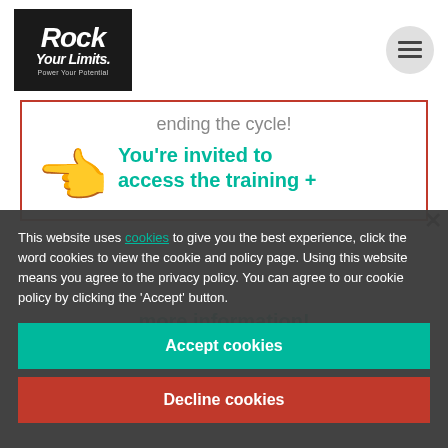[Figure (logo): Rock Your Limits logo - black background with white bold italic text, tagline 'Power Your Potential']
[Figure (other): Hamburger menu button - circular grey button with three horizontal lines]
ending the cycle!
You're invited to access the training +
This website uses cookies to give you the best experience, click the word cookies to view the cookie and policy page. Using this website means you agree to the privacy policy. You can agree to our cookie policy by clicking the 'Accept' button.
Accept cookies
Decline cookies